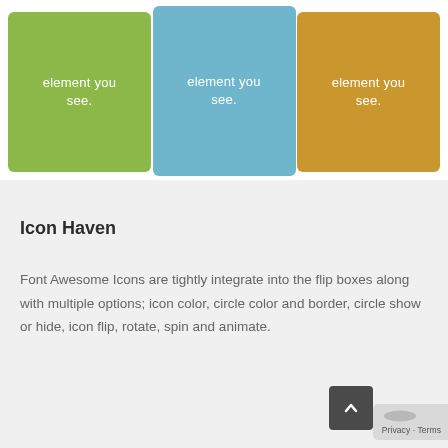[Figure (illustration): Three colored rounded boxes arranged horizontally: green box on left, light blue box in center (slightly taller), gold/orange box on right. Each contains the text 'element you see.' in white.]
Icon Haven
Font Awesome Icons are tightly integrate into the flip boxes along with multiple options; icon color, circle color and border, circle show or hide, icon flip, rotate, spin and animate.